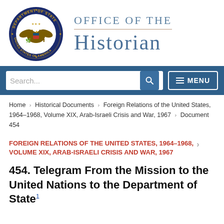[Figure (logo): US Department of State seal (eagle with shield, olive branch and arrows, surrounded by text 'Department of State' and 'United States of America' on a circular blue border with gold stars)]
OFFICE OF THE HISTORIAN
Search... [search box] [MENU button]
Home › Historical Documents › Foreign Relations of the United States, 1964–1968, Volume XIX, Arab-Israeli Crisis and War, 1967 › Document 454
FOREIGN RELATIONS OF THE UNITED STATES, 1964–1968, VOLUME XIX, ARAB-ISRAELI CRISIS AND WAR, 1967
454. Telegram From the Mission to the United Nations to the Department of State¹